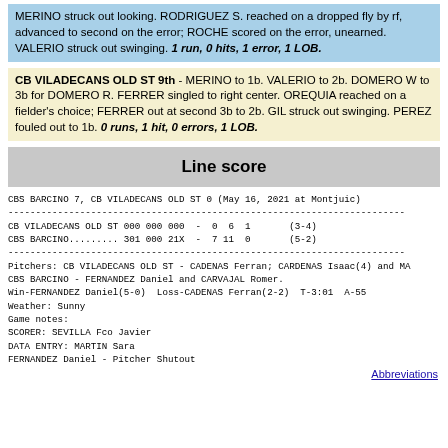MERINO struck out looking. RODRIGUEZ S. reached on a dropped fly by rf, advanced to second on the error; ROCHE scored on the error, unearned. VALERIO struck out swinging. 1 run, 0 hits, 1 error, 1 LOB.
CB VILADECANS OLD ST 9th - MERINO to 1b. VALERIO to 2b. DOMERO W to 3b for DOMERO R. FERRER singled to right center. OREQUIA reached on a fielder's choice; FERRER out at second 3b to 2b. GIL struck out swinging. PEREZ fouled out to 1b. 0 runs, 1 hit, 0 errors, 1 LOB.
Line score
CBS BARCINO 7, CB VILADECANS OLD ST 0 (May 16, 2021 at Montjuic)
CB VILADECANS OLD ST 000 000 000  -  0  6  1       (3-4)
CBS BARCINO......... 301 000 21X  -  7 11  0       (5-2)
Pitchers: CB VILADECANS OLD ST - CADENAS Ferran; CARDENAS Isaac(4) and MA
CBS BARCINO - FERNANDEZ Daniel and CARVAJAL Romer.
Win-FERNANDEZ Daniel(5-0)  Loss-CADENAS Ferran(2-2)  T-3:01  A-55
Weather: Sunny
Game notes:
SCORER: SEVILLA Fco Javier
DATA ENTRY: MARTIN Sara
FERNANDEZ Daniel - Pitcher Shutout
Abbreviations